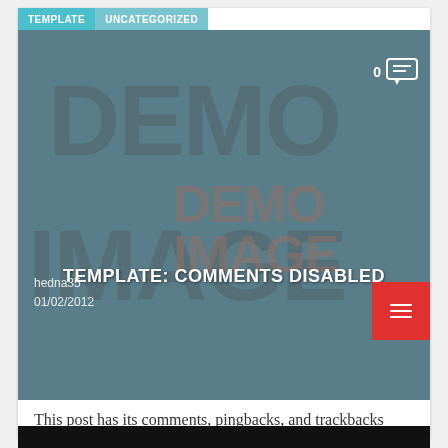[Figure (screenshot): Blog post card with teal/slate header image showing 'DEMO IMAGE' watermark text, title 'TEMPLATE: COMMENTS DISABLED', category tabs 'TEMPLATE' and 'UNCATEGORIZED', comment count 0, author hedna35, date 01/02/2012, and red menu button]
This post has its comments, pingbacks, and trackbacks disabled. There should be no comment